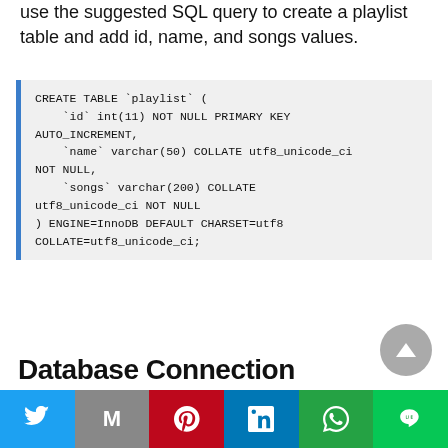use the suggested SQL query to create a playlist table and add id, name, and songs values.
Database Connection